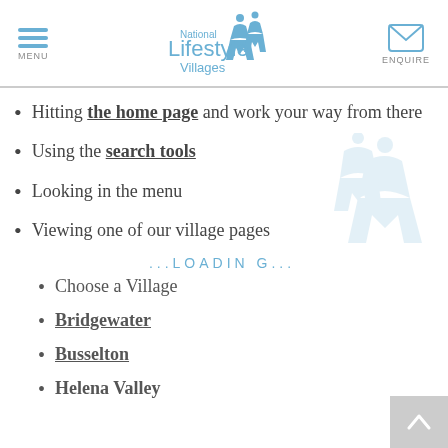MENU | National Lifestyle Villages | ENQUIRE
Hitting the home page and work your way from there
Using the search tools
Looking in the menu
Viewing one of our village pages
...LOADING...
Choose a Village
Bridgewater
Busselton
Helena Valley